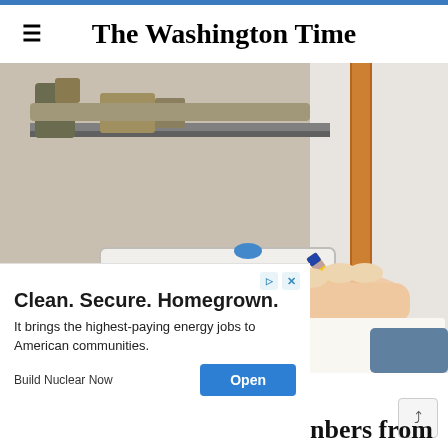The Washington Time
[Figure (photo): A hand holding a yellow pencil writing notes, next to a gas meter with digital display showing numbers 1 1 1 2 7 9 8, with pipes and mechanical equipment in the background.]
[Figure (infographic): Advertisement overlay: 'Clean. Secure. Homegrown.' headline with ad controls. Body text: 'It brings the highest-paying energy jobs to American communities.' Brand: Build Nuclear Now. Open button.]
nbers from